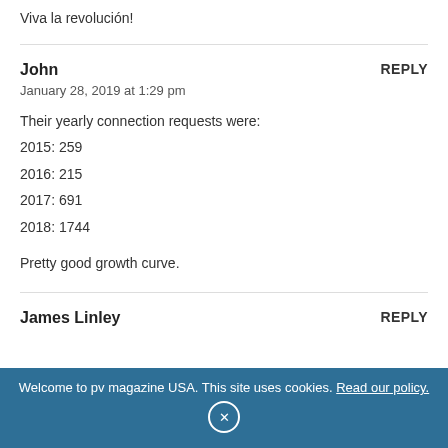Viva la revolución!
John
January 28, 2019 at 1:29 pm
Their yearly connection requests were:
2015: 259
2016: 215
2017: 691
2018: 1744

Pretty good growth curve.
James Linley
Welcome to pv magazine USA. This site uses cookies. Read our policy.